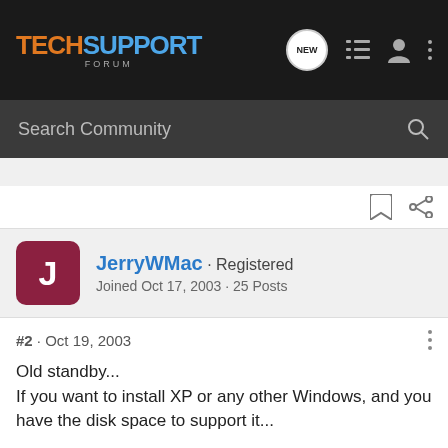TECHSUPPORT FORUM
Search Community
JerryWMac · Registered
Joined Oct 17, 2003 · 25 Posts
#2 · Oct 19, 2003
Old standby...
If you want to install XP or any other Windows, and you have the disk space to support it...

Make a folder called whatever you want, i.e. Cab, Windowsxp.. etc.etc.